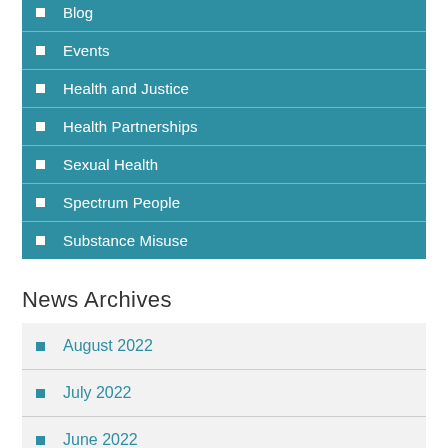Blog
Events
Health and Justice
Health Partnerships
Sexual Health
Spectrum People
Substance Misuse
News Archives
August 2022
July 2022
June 2022